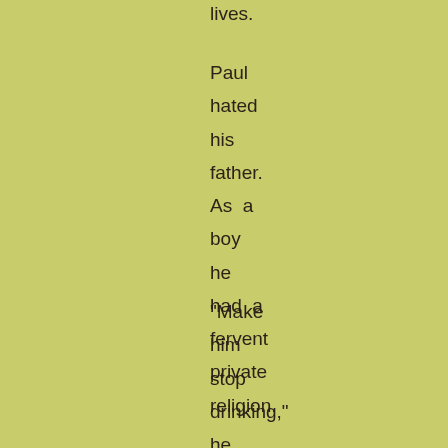lives.
Paul hated his father. As a boy he had a fervent private religion.
"Make him stop drinking," he